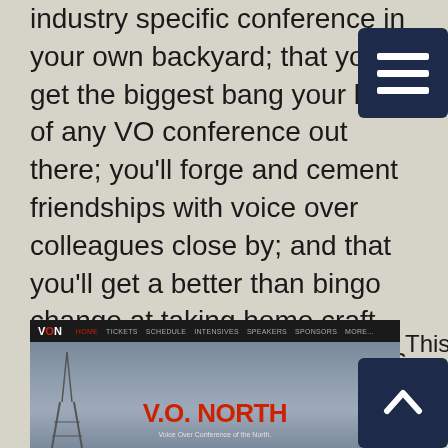industry specific conference in your own backyard; that you'll get the biggest bang your buck of any VO conference out there; you'll forge and cement friendships with voice over colleagues close by; and that you'll get a better than bingo change at taking home craft, marketing or equipment prizes a voice actor at any level in their career would value. I took my voice over career to the next level through attending conferences. Although all are helpful, my favorite kind have been smaller (less than 200 people) with valuable content.
[Figure (screenshot): Screenshot of V.O. North website with navigation bar showing VON logo and links: Tickets, Schedule, Intensives, Speakers, Sponsors, More. Background shows a cloudy sky with a tower silhouette and the text 'V.O. NORTH' in red bold letters with subtitle 'Voice Over Conference of the North.']
This two-day voice acting